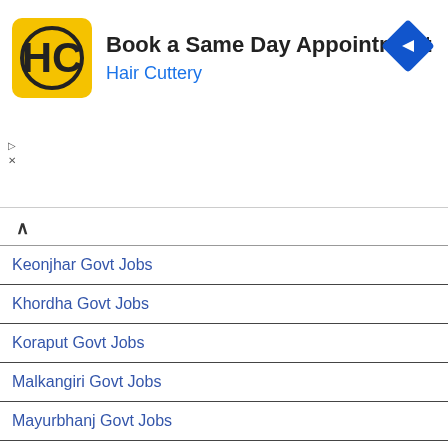[Figure (other): Hair Cuttery advertisement banner with logo, text 'Book a Same Day Appointment' and 'Hair Cuttery', and a blue navigation arrow icon]
Keonjhar Govt Jobs
Khordha Govt Jobs
Koraput Govt Jobs
Malkangiri Govt Jobs
Mayurbhanj Govt Jobs
Nabarangpur Govt Jobs
Nayagarh Govt Jobs
Nuapada Govt Jobs
Puri Govt Jobs